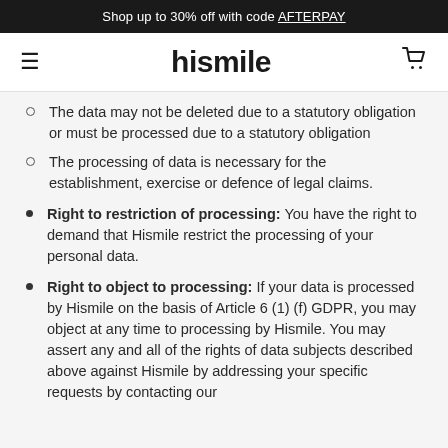Shop up to 30% off with code AFTERPAY
hismile
The data may not be deleted due to a statutory obligation or must be processed due to a statutory obligation
The processing of data is necessary for the establishment, exercise or defence of legal claims.
Right to restriction of processing: You have the right to demand that Hismile restrict the processing of your personal data.
Right to object to processing: If your data is processed by Hismile on the basis of Article 6 (1) (f) GDPR, you may object at any time to processing by Hismile. You may assert any and all of the rights of data subjects described above against Hismile by addressing your specific requests by contacting our